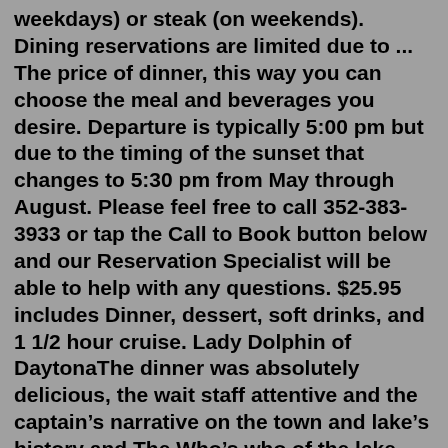weekdays) or steak (on weekends). Dining reservations are limited due to ... The price of dinner, this way you can choose the meal and beverages you desire. Departure is typically 5:00 pm but due to the timing of the sunset that changes to 5:30 pm from May through August. Please feel free to call 352-383-3933 or tap the Call to Book button below and our Reservation Specialist will be able to help with any questions. $25.95 includes Dinner, dessert, soft drinks, and 1 1/2 hour cruise. Lady Dolphin of DaytonaThe dinner was absolutely delicious, the wait staff attentive and the captain's narrative on the town and lake's history and The Who's who of the lake front homes was both interesting and enjoyable. Dorienne Martin - Baldwinsville. Verified Xperience Days Participant. $ 160 .00. This specialty Mississippi riverboat cruise makes for a perfect date night or a fun night out with friends and family! Take in the sights and enjoy a dinner boat cruise aboard the Betsy Ann. Menu items include egg drop soup, fried